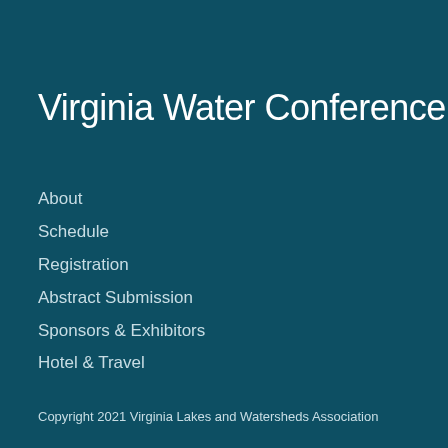Virginia Water Conference
About
Schedule
Registration
Abstract Submission
Sponsors & Exhibitors
Hotel & Travel
Copyright 2021 Virginia Lakes and Watersheds Association